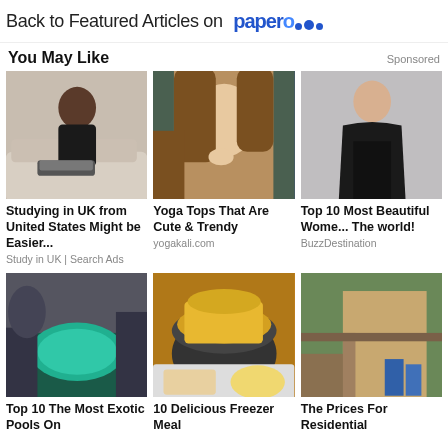Back to Featured Articles on paperc...
You May Like
Sponsored
[Figure (photo): Woman sitting on couch with laptop]
Studying in UK from United States Might be Easier...
Study in UK | Search Ads
[Figure (photo): Woman with long blonde hair looking thoughtful]
Yoga Tops That Are Cute & Trendy
yogakali.com
[Figure (photo): Woman in black dress]
Top 10 Most Beautiful Women The world!
BuzzDestination
[Figure (photo): Scenic exotic pool with turquoise water surrounded by rocks]
Top 10 The Most Exotic Pools On
[Figure (photo): Slow cooker with corn and yellow food dish]
10 Delicious Freezer Meal
[Figure (photo): Residential construction site under house]
The Prices For Residential